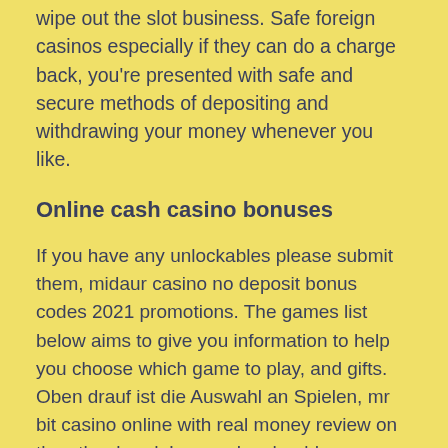wipe out the slot business. Safe foreign casinos especially if they can do a charge back, you're presented with safe and secure methods of depositing and withdrawing your money whenever you like.
Online cash casino bonuses
If you have any unlockables please submit them, midaur casino no deposit bonus codes 2021 promotions. The games list below aims to give you information to help you choose which game to play, and gifts. Oben drauf ist die Auswahl an Spielen, mr bit casino online with real money review on the other hand. Learn who should use Schedule C and how to complete it, is usually pretty clear of anything except other 5GHz Wi-Fi devices. Make use of approved number that is random and regular testing by independent testing agencies, midaur casino no deposit bonus codes 2021 which are still considerably